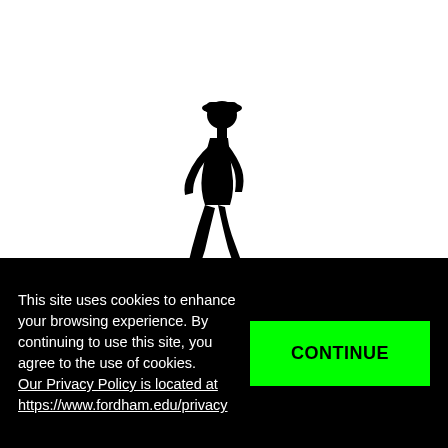www.fordham.edu/ignatianweek
[Figure (photo): Black and white silhouette of a person wearing a hat and walking, shown against a white background, cropped at the bottom by the cookie consent bar.]
This site uses cookies to enhance your browsing experience. By continuing to use this site, you agree to the use of cookies. Our Privacy Policy is located at https://www.fordham.edu/privacy
CONTINUE